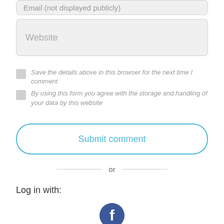Email (not displayed publicly)
Website
Save the details above in this browser for the next time I comment
By using this form you agree with the storage and handling of your data by this website
Submit comment
or
Log in with:
[Figure (logo): Facebook logo icon — dark blue circle with white 'f' letter]